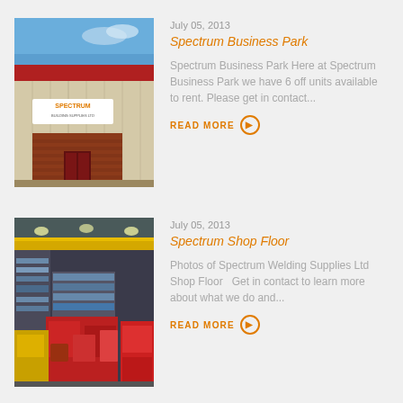July 05, 2013
Spectrum Business Park
[Figure (photo): Exterior of a large industrial building with a 'SPECTRUM' sign on the facade, red and yellow colors, blue sky background.]
Spectrum Business Park Here at Spectrum Business Park we have 6 off units available to rent. Please get in contact...
READ MORE
July 05, 2013
Spectrum Shop Floor
[Figure (photo): Interior of a busy industrial shop floor with yellow overhead crane beam, red machinery, shelving units filled with supplies.]
Photos of Spectrum Welding Supplies Ltd Shop Floor   Get in contact to learn more about what we do and...
READ MORE